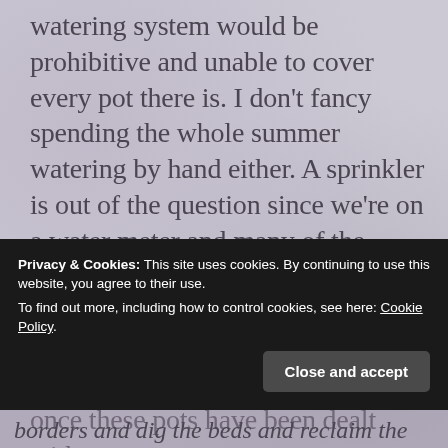watering system would be prohibitive and unable to cover every pot there is. I don't fancy spending the whole summer watering by hand either. A sprinkler is out of the question since we're on a water meter and many of the plants won't like being cooped in pots for long. It's purely pragmatic reasons like these which mean there will likely never be a similar display once these pots have been dealt with.
Privacy & Cookies: This site uses cookies. By continuing to use this website, you agree to their use.
To find out more, including how to control cookies, see here: Cookie Policy
Close and accept
borders and dig the beds and reclaim the